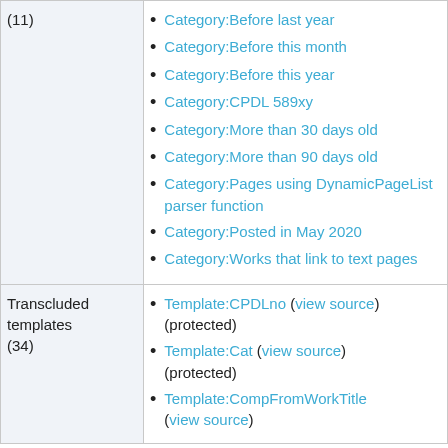Category:Before last year
Category:Before this month
Category:Before this year
Category:CPDL 589xy
Category:More than 30 days old
Category:More than 90 days old
Category:Pages using DynamicPageList parser function
Category:Posted in May 2020
Category:Works that link to text pages
Transcluded templates (34)
Template:CPDLno (view source) (protected)
Template:Cat (view source) (protected)
Template:CompFromWorkTitle (view source)